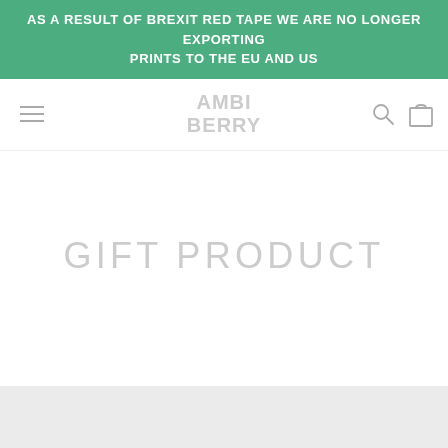AS A RESULT OF BREXIT RED TAPE WE ARE NO LONGER EXPORTING PRINTS TO THE EU AND US
[Figure (screenshot): Navigation bar with hamburger menu icon on left, faded logo in center, search and shopping bag icons on right]
GIFT PRODUCT